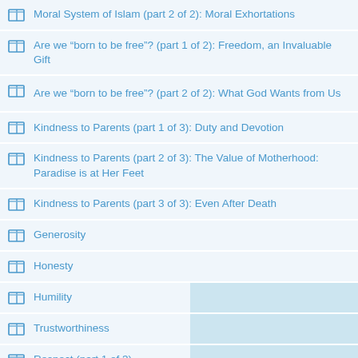Moral System of Islam (part 2 of 2): Moral Exhortations
Are we “born to be free”? (part 1 of 2): Freedom, an Invaluable Gift
Are we “born to be free”? (part 2 of 2): What God Wants from Us
Kindness to Parents (part 1 of 3): Duty and Devotion
Kindness to Parents (part 2 of 3): The Value of Motherhood: Paradise is at Her Feet
Kindness to Parents (part 3 of 3): Even After Death
Generosity
Honesty
Humility
Trustworthiness
Respect (part 1 of 3)
Respect (part 2 of 3)